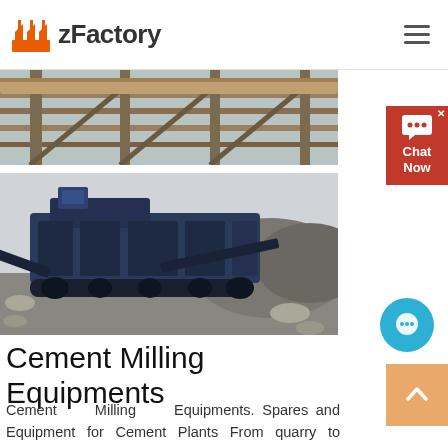zFactory
[Figure (photo): Partial view of an industrial conveyor/crane structure at a cement plant or quarry, cropped at top and bottom.]
[Figure (photo): Large mobile crushing/milling machinery (dark blue/grey) sitting on a rocky quarry site with debris and rocks around it.]
Cement Milling Equipments
Cement Milling Equipments. Spares and Equipment for Cement Plants From quarry to bagging we are committed to provide you